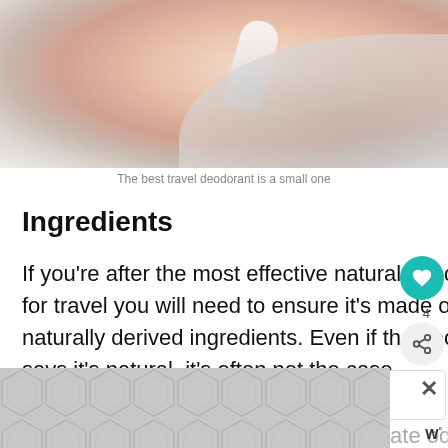[Figure (photo): Close-up photo of a person applying a white deodorant stick to their underarm; person is wearing a gray top]
The best travel deodorant is a small one
Ingredients
If you're after the most effective natural deodorant for travel you will need to ensure it's made of 10 naturally derived ingredients. Even if the deodorant says it's natural, it's often not the case.
Some of the best ingredients to eliminate odor in
[Figure (infographic): Advertisement overlay with geometric hexagonal pattern in gray tones, with an X close button and W° logo]